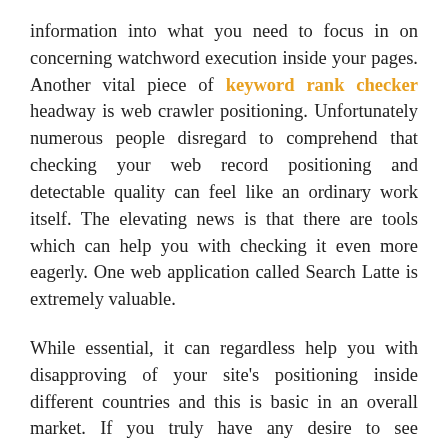information into what you need to focus in on concerning watchword execution inside your pages. Another vital piece of keyword rank checker headway is web crawler positioning. Unfortunately numerous people disregard to comprehend that checking your web record positioning and detectable quality can feel like an ordinary work itself. The elevating news is that there are tools which can help you with checking it even more eagerly. One web application called Search Latte is extremely valuable.
While essential, it can regardless help you with disapproving of your site's positioning inside different countries and this is basic in an overall market. If you truly have any desire to see impressively more data, unquestionably contemplate Getstat. It gives low down reports and immense proportions of data concerning expressions, while moreover organizing information according to district. Joins and the checking of these associations with various areas is another growing piece of the SEO instrument trade. Spreading out genuine associations between your site and others engages you to benefit from extended...